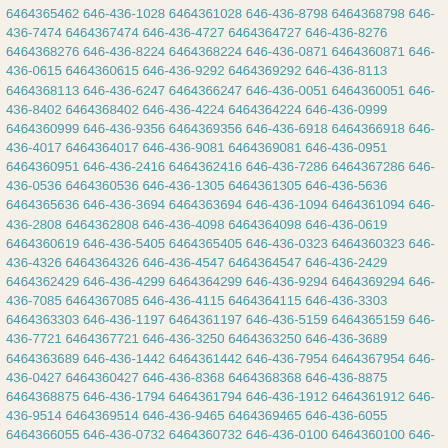6464365462 646-436-1028 6464361028 646-436-8798 6464368798 646-436-7474 6464367474 646-436-4727 6464364727 646-436-8276 6464368276 646-436-8224 6464368224 646-436-0871 6464360871 646-436-0615 6464360615 646-436-9292 6464369292 646-436-8113 6464368113 646-436-6247 6464366247 646-436-0051 6464360051 646-436-8402 6464368402 646-436-4224 6464364224 646-436-0999 6464360999 646-436-9356 6464369356 646-436-6918 6464366918 646-436-4017 6464364017 646-436-9081 6464369081 646-436-0951 6464360951 646-436-2416 6464362416 646-436-7286 6464367286 646-436-0536 6464360536 646-436-1305 6464361305 646-436-5636 6464365636 646-436-3694 6464363694 646-436-1094 6464361094 646-436-2808 6464362808 646-436-4098 6464364098 646-436-0619 6464360619 646-436-5405 6464365405 646-436-0323 6464360323 646-436-4326 6464364326 646-436-4547 6464364547 646-436-2429 6464362429 646-436-4299 6464364299 646-436-9294 6464369294 646-436-7085 6464367085 646-436-4115 6464364115 646-436-3303 6464363303 646-436-1197 6464361197 646-436-5159 6464365159 646-436-7721 6464367721 646-436-3250 6464363250 646-436-3689 6464363689 646-436-1442 6464361442 646-436-7954 6464367954 646-436-0427 6464360427 646-436-8368 6464368368 646-436-8875 6464368875 646-436-1794 6464361794 646-436-1912 6464361912 646-436-9514 6464369514 646-436-9465 6464369465 646-436-6055 6464366055 646-436-0732 6464360732 646-436-0100 6464360100 646-436-6267 6464366267 646-436-6412 6464366412 646-436-8333 6464368333 646-436-5628 6464365628 646-436-2430 6464362430 646-436-9851 6464369851 646-436-1793 6464361793 646-436-7019